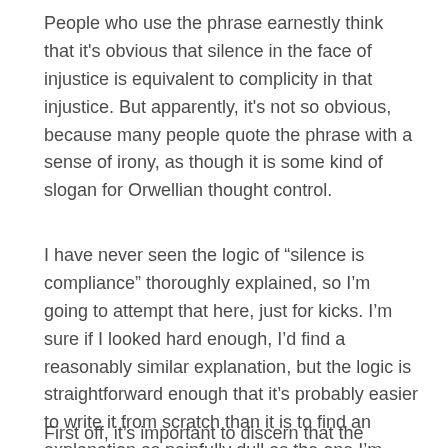People who use the phrase earnestly think that it's obvious that silence in the face of injustice is equivalent to complicity in that injustice. But apparently, it's not so obvious, because many people quote the phrase with a sense of irony, as though it is some kind of slogan for Orwellian thought control.
I have never seen the logic of “silence is compliance” thoroughly explained, so I’m going to attempt that here, just for kicks. I’m sure if I looked hard enough, I’d find a reasonably similar explanation, but the logic is straightforward enough that it’s probably easier to write it from scratch than it is to find an explanation as painfully dull as the one I’m going to give here.
First off, it’s important to discern that the phrase is